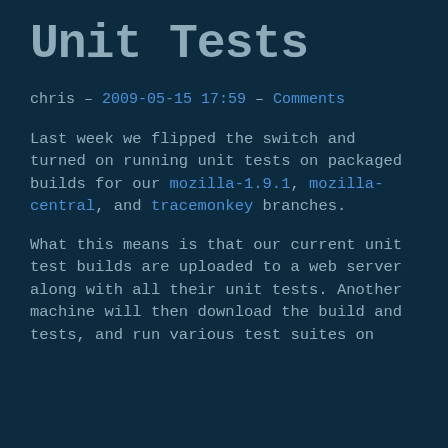Unit Tests
chris – 2009-05-15 17:59 – Comments
Last week we flipped the switch and turned on running unit tests on packaged builds for our mozilla-1.9.1, mozilla-central, and tracemonkey branches.
What this means is that our current unit test builds are uploaded to a web server along with all their unit tests. Another machine will then download the build and tests, and run various test suites on